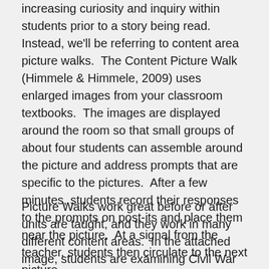increasing curiosity and inquiry within students prior to a story being read.  Instead, we'll be referring to content area picture walks.  The Content Picture Walk (Himmele & Himmele, 2009) uses enlarged images from your classroom textbooks.  The images are displayed around the room so that small groups of about four students can assemble around the picture and address prompts that are specific to the pictures.  After a few minutes, students record their responses to the prompts on post-its and place them near the picture.  At a signal from the teacher, students then circulate to the next picture.
Picture Walks work great before or after units are taught, and they work in many different content areas.  In the attached image, students are examining Civil War images scanned from a history text.  They are addressing two specific prompts 1) What do you think is happening in the picture? 2) Why do you think it is important enough for